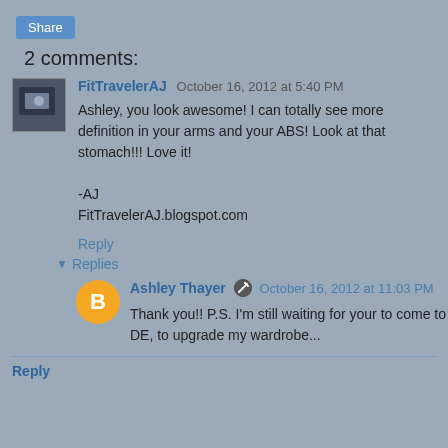Share
2 comments:
FitTravelerAJ  October 16, 2012 at 5:40 PM
Ashley, you look awesome! I can totally see more definition in your arms and your ABS! Look at that stomach!!! Love it!

-AJ
FitTravelerAJ.blogspot.com
Reply
▼ Replies
Ashley Thayer  October 16, 2012 at 11:03 PM
Thank you!! P.S. I'm still waiting for your to come to DE, to upgrade my wardrobe...
Reply